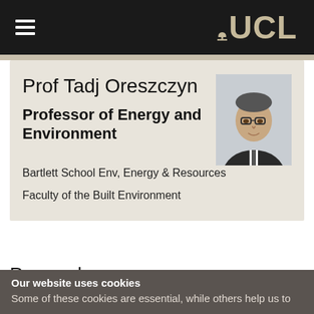UCL
Prof Tadj Oreszczyn
Professor of Energy and Environment
[Figure (photo): Portrait photograph of Prof Tadj Oreszczyn, a middle-aged man wearing glasses and a dark suit with a tie]
Bartlett School Env, Energy & Resources
Faculty of the Built Environment
Research su
Cookie settings
Our website uses cookies
Some of these cookies are essential, while others help us to